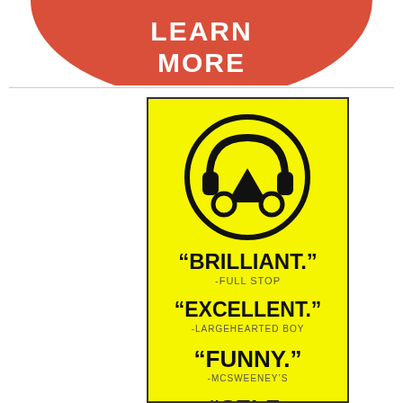[Figure (illustration): Red semicircle banner with white bold text 'LEARN MORE']
[Figure (infographic): Yellow vertical banner with a circular game controller icon and quotes: 'BRILLIANT.' -FULL STOP, 'EXCELLENT.' -LARGEHEARTED BOY, 'FUNNY.' -MCSWEENEY'S, 'SELF-' (truncated)]